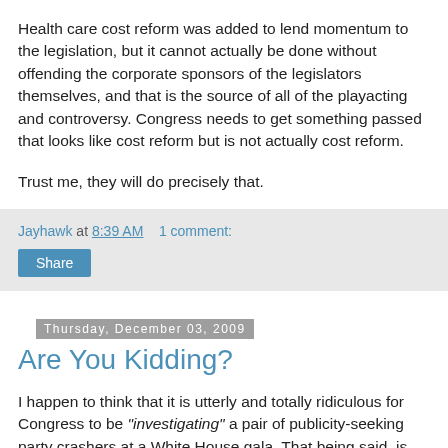Health care cost reform was added to lend momentum to the legislation, but it cannot actually be done without offending the corporate sponsors of the legislators themselves, and that is the source of all of the playacting and controversy. Congress needs to get something passed that looks like cost reform but is not actually cost reform.
Trust me, they will do precisely that.
Jayhawk at 8:39 AM   1 comment:
Share
Thursday, December 03, 2009
Are You Kidding?
I happen to think that it is utterly and totally ridiculous for Congress to be "investigating" a pair of publicity-seeking party crashers at a White House gala. That being said, is the presidential staff really serious that it is a "principle of the